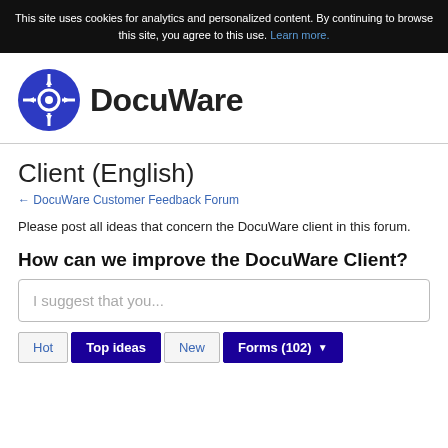This site uses cookies for analytics and personalized content. By continuing to browse this site, you agree to this use. Learn more.
[Figure (logo): DocuWare logo: blue circle with white compass/crosshair icon and the text 'DocuWare' in bold dark letters]
Client (English)
← DocuWare Customer Feedback Forum
Please post all ideas that concern the DocuWare client in this forum.
How can we improve the DocuWare Client?
I suggest that you...
Hot  Top ideas  New  Forms (102)